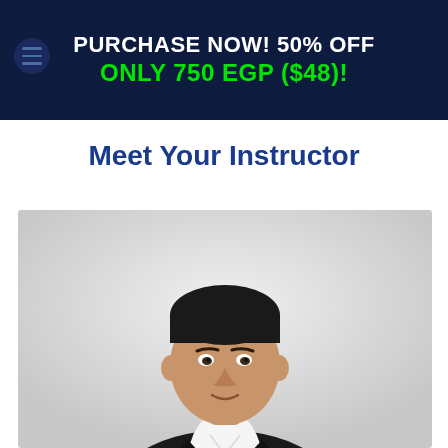PURCHASE NOW! 50% OFF
ONLY 750 EGP ($48)!
Meet Your Instructor
[Figure (photo): Professional headshot of a man in a black blazer and white shirt, against a light grey background.]